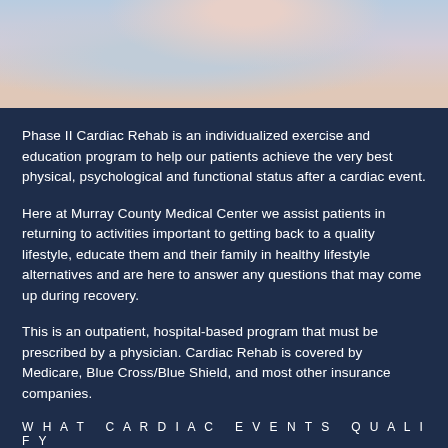[Figure (photo): Blurred photo of medical professional in white coat, upper portion of page]
Phase II Cardiac Rehab is an individualized exercise and education program to help our patients achieve the very best physical, psychological and functional status after a cardiac event.
Here at Murray County Medical Center we assist patients in returning to activities important to getting back to a quality lifestyle, educate them and their family in healthy lifestyle alternatives and are here to answer any questions that may come up during recovery.
This is an outpatient, hospital-based program that must be prescribed by a physician. Cardiac Rehab is covered by Medicare, Blue Cross/Blue Shield, and most other insurance companies.
WHAT CARDIAC EVENTS QUALIFY